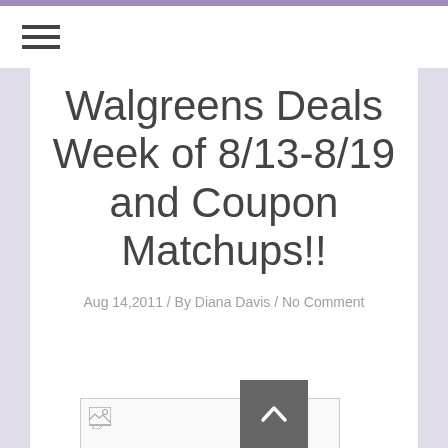≡
Walgreens Deals Week of 8/13-8/19 and Coupon Matchups!!
Aug 14,2011 / By Diana Davis / No Comment
[Figure (photo): Broken image placeholder (white rectangle with broken image icon in top-left corner)]